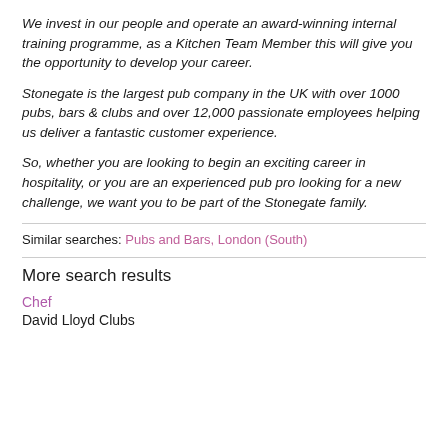We invest in our people and operate an award-winning internal training programme, as a Kitchen Team Member this will give you the opportunity to develop your career.
Stonegate is the largest pub company in the UK with over 1000 pubs, bars & clubs and over 12,000 passionate employees helping us deliver a fantastic customer experience.
So, whether you are looking to begin an exciting career in hospitality, or you are an experienced pub pro looking for a new challenge, we want you to be part of the Stonegate family.
Similar searches: Pubs and Bars, London (South)
More search results
Chef
David Lloyd Clubs